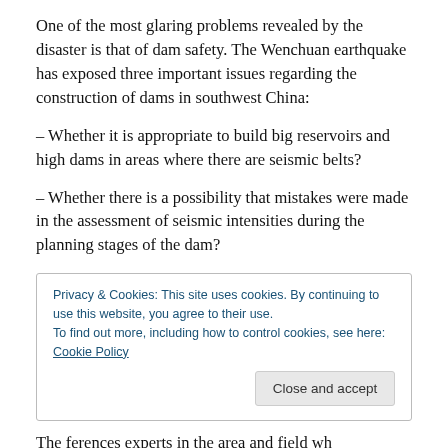One of the most glaring problems revealed by the disaster is that of dam safety. The Wenchuan earthquake has exposed three important issues regarding the construction of dams in southwest China:
– Whether it is appropriate to build big reservoirs and high dams in areas where there are seismic belts?
– Whether there is a possibility that mistakes were made in the assessment of seismic intensities during the planning stages of the dam?
Privacy & Cookies: This site uses cookies. By continuing to use this website, you agree to their use.
To find out more, including how to control cookies, see here: Cookie Policy
Theferences experts in the area and field who...